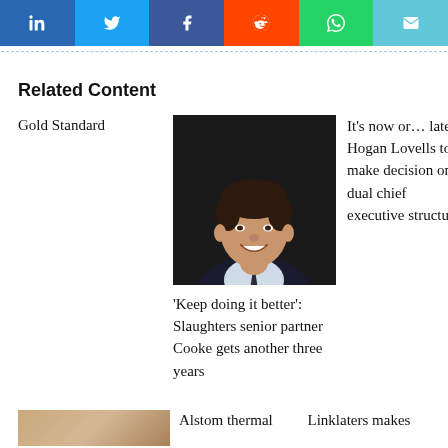[Figure (infographic): Social share buttons row: LinkedIn (blue), Twitter (light blue), Facebook (blue), Reddit (orange-red), WhatsApp (green), Email (teal)]
Related Content
Gold Standard
[Figure (photo): Portrait photo of a smiling man in a dark suit and tie against a dark background]
It's now or… later. Hogan Lovells to make decision on dual chief executive structure
'Keep doing it better': Slaughters senior partner Cooke gets another three years
[Figure (photo): Thumbnail image with warm tan/beige tones]
Alstom thermal
Linklaters makes